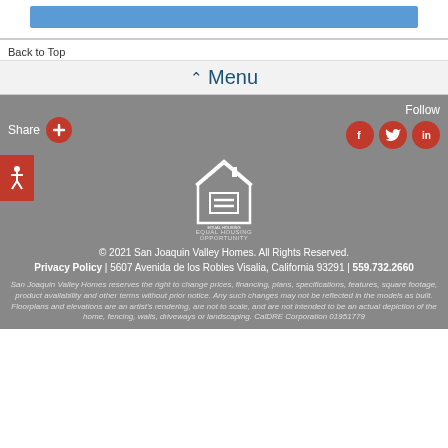[Figure (screenshot): Top bar with light blue progress/search bar element]
Back to Top
^ Menu
Share
Follow
[Figure (logo): Equal Housing Opportunity logo - house with equal sign]
© 2021 San Joaquin Valley Homes. All Rights Reserved. Privacy Policy | 5607 Avenida de los Robles Visalia, California 93291 | 559.732.2660
San Joaquin Valley Homes reserves the right to change prices, financing, plans, specifications, features, square footage, product availability and other terms without prior notice. Any such changes may not be reflected in the models as built. Floorplans and elevations are an artist's rendering, are not to scale, and are not intended to be an actual depiction of the home, fencing, walls, driveways or landscaping. CalDRE Corporation 01951779